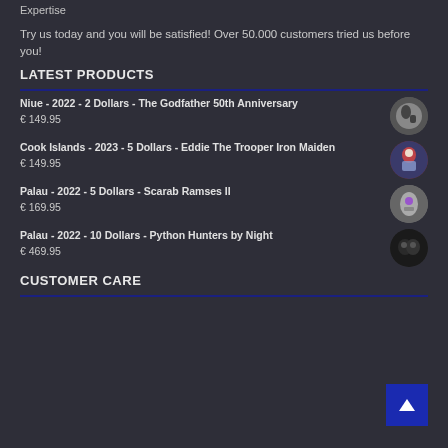Expertise
Try us today and you will be satisfied! Over 50.000 customers tried us before you!
LATEST PRODUCTS
Niue - 2022 - 2 Dollars - The Godfather 50th Anniversary
€ 149.95
Cook Islands - 2023 - 5 Dollars - Eddie The Trooper Iron Maiden
€ 149.95
Palau - 2022 - 5 Dollars - Scarab Ramses II
€ 169.95
Palau - 2022 - 10 Dollars - Python Hunters by Night
€ 469.95
CUSTOMER CARE